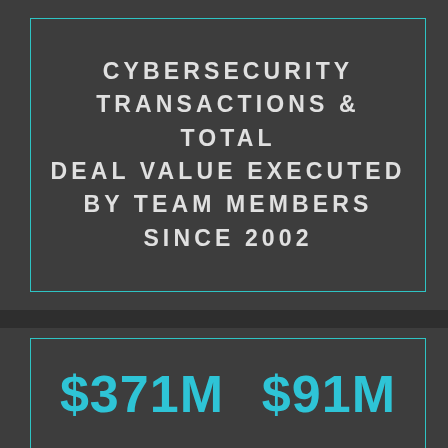CYBERSECURITY TRANSACTIONS & TOTAL DEAL VALUE EXECUTED BY TEAM MEMBERS SINCE 2002
$371M  $91M